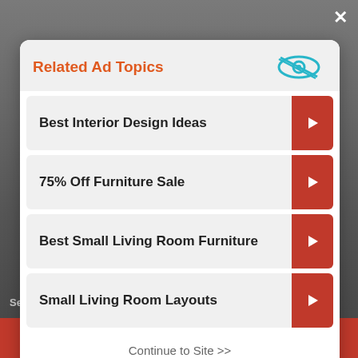[Figure (screenshot): Blurred background showing interior design images behind the modal overlay]
Related Ad Topics
[Figure (logo): Ad privacy icon - eye with cross through it in blue/cyan color]
Best Interior Design Ideas
75% Off Furniture Sale
Best Small Living Room Furniture
Small Living Room Layouts
Continue to Site >>
Best Interior Design Ideas
See It >